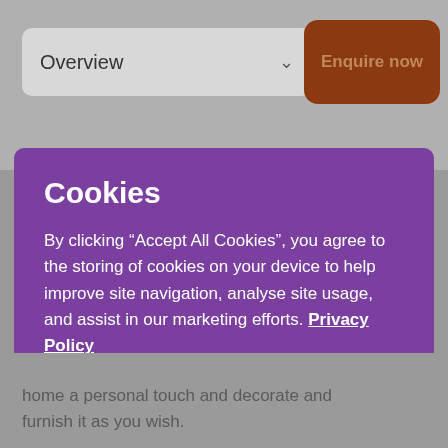[Figure (screenshot): Dropdown menu showing 'Overview' with a chevron arrow, and a brown 'Enquire now' button in the top navigation area]
Cookies
By clicking “Accept All Cookies”, you agree to the storing of cookies on your device to help improve site navigation, analyse site usage, and assist in our marketing efforts. Privacy Policy
Cookies Settings
Accept All Cookies
home a personal touch and decorate and furnish it as you wish.